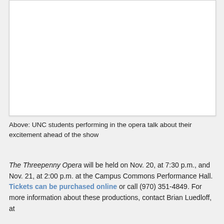[Figure (photo): White rectangular image area showing UNC students performing in the opera]
Above: UNC students performing in the opera talk about their excitement ahead of the show
The Threepenny Opera will be held on Nov. 20, at 7:30 p.m., and Nov. 21, at 2:00 p.m. at the Campus Commons Performance Hall. Tickets can be purchased online or call (970) 351-4849. For more information about these productions, contact Brian Luedloff, at